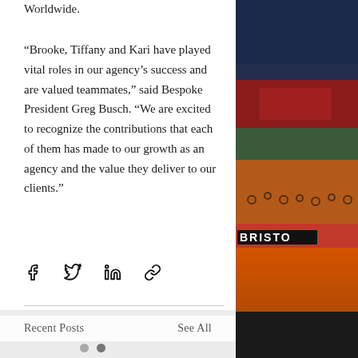Worldwide.
“Brooke, Tiffany and Kari have played vital roles in our agency’s success and are valued teammates,” said Bespoke President Greg Busch. “We are excited to recognize the contributions that each of them has made to our growth as an agency and the value they deliver to our clients.”
[Figure (other): Social share icons: Facebook, Twitter, LinkedIn, Link]
[Figure (photo): Stadium photo on the right side, showing a large crowd at a sporting event with BRISTO text visible on a wall]
Recent Posts
See All